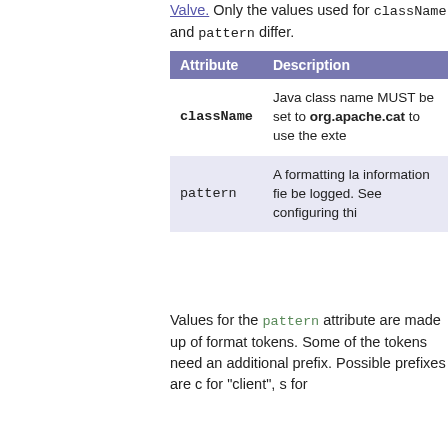Valve. Only the values used for className and pattern differ.
| Attribute | Description |
| --- | --- |
| className | Java class name MUST be set to org.apache.cat... to use the exte... |
| pattern | A formatting la... information fie... be logged. See ... configuring thi... |
Values for the pattern attribute are made up of format tokens. Some of the tokens need an additional prefix. Possible prefixes are c for "client", s for